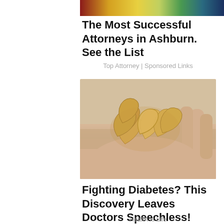[Figure (photo): Partial image of a person visible at top of page, cropped]
The Most Successful Attorneys in Ashburn. See the List
Top Attorney | Sponsored Links
[Figure (photo): A hand holding a pile of cashew nuts on a light background]
Fighting Diabetes? This Discovery Leaves Doctors Speechless!
Health is Life